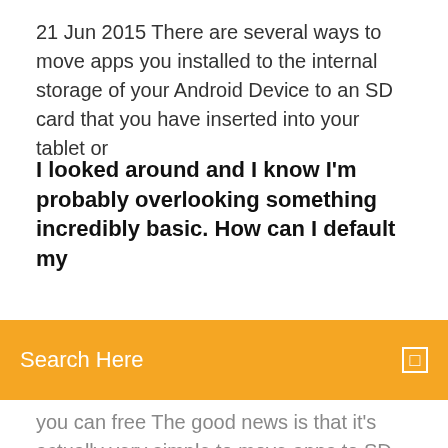21 Jun 2015 There are several ways to move apps you installed to the internal storage of your Android Device to an SD card that you have inserted into your tablet or
I looked around and I know I'm probably overlooking something incredibly basic. How can I default my
[Figure (other): Orange search bar with text 'Search Here' and a small square icon on the right]
you can free The good news is that it's actually very simple to move apps to SD card on Android. go to Settings > Apps and then tap the app that you want to move to external  13 Sep 2019 Any maps you download now, will be placed on the SD card. First, check that the Map Storage, External SD Card option appears in the Map  If you'd like to export files from Dropbox to an SD card on your Android phone, you'll Tap More; Tap Export; Tap Save to device; Select your external SD card. 5 Dec 2019 Google's relationship with SD card support on mobile devices has will be changing the "Download Location" from internal to